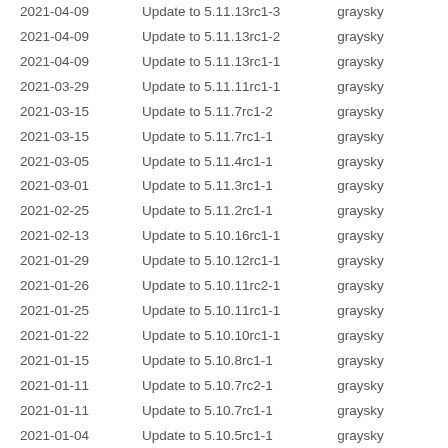| Date | Description | Author |
| --- | --- | --- |
| 2021-04-09 | Update to 5.11.13rc1-3 | graysky |
| 2021-04-09 | Update to 5.11.13rc1-2 | graysky |
| 2021-04-09 | Update to 5.11.13rc1-1 | graysky |
| 2021-03-29 | Update to 5.11.11rc1-1 | graysky |
| 2021-03-15 | Update to 5.11.7rc1-2 | graysky |
| 2021-03-15 | Update to 5.11.7rc1-1 | graysky |
| 2021-03-05 | Update to 5.11.4rc1-1 | graysky |
| 2021-03-01 | Update to 5.11.3rc1-1 | graysky |
| 2021-02-25 | Update to 5.11.2rc1-1 | graysky |
| 2021-02-13 | Update to 5.10.16rc1-1 | graysky |
| 2021-01-29 | Update to 5.10.12rc1-1 | graysky |
| 2021-01-26 | Update to 5.10.11rc2-1 | graysky |
| 2021-01-25 | Update to 5.10.11rc1-1 | graysky |
| 2021-01-22 | Update to 5.10.10rc1-1 | graysky |
| 2021-01-15 | Update to 5.10.8rc1-1 | graysky |
| 2021-01-11 | Update to 5.10.7rc2-1 | graysky |
| 2021-01-11 | Update to 5.10.7rc1-1 | graysky |
| 2021-01-04 | Update to 5.10.5rc1-1 | graysky |
| 2020-12-29 | Update to 5.10.4rc2-1 | graysky |
| 2020-12-28 | Update to 5.10.4rc1-1 | graysky |
| 2020-12-23 | Update to 5.10.3rc1-1 | graysky |
| 2020-12-19 | Update to 5.10.2rc1-1 | graysky |
| 2020-12-10 | Update to 5.9.14rc1-1 | graysky |
| 2020-12-06 | Update to 5.9.13rc1-1 | graysky |
| 2020-12-01 | Update to 5.9.12rc1-1 | graysky |